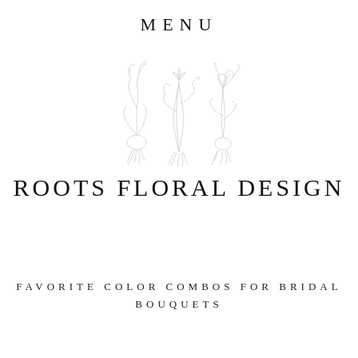MENU
[Figure (illustration): Three botanical illustrations of flowering plants with roots, drawn in a delicate light gray line style]
ROOTS FLORAL DESIGN
FAVORITE COLOR COMBOS FOR BRIDAL BOUQUETS